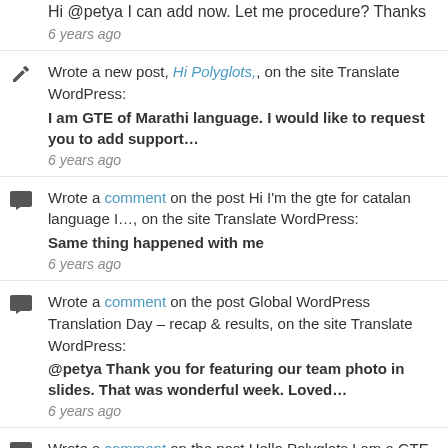Hi @petya I can add now. Let me procedure? Thanks
6 years ago
Wrote a new post, Hi Polyglots,, on the site Translate WordPress:
I am GTE of Marathi language. I would like to request you to add support…
6 years ago
Wrote a comment on the post Hi I'm the gte for catalan language I…, on the site Translate WordPress:
Same thing happened with me
6 years ago
Wrote a comment on the post Global WordPress Translation Day – recap & results, on the site Translate WordPress:
@petya Thank you for featuring our team photo in slides. That was wonderful week. Loved…
6 years ago
Wrote a comment on the post Hello Polyglots I am a GTE for Marathi…, on the site Translate WordPress:
Wow. Finally we are done
6 years ago